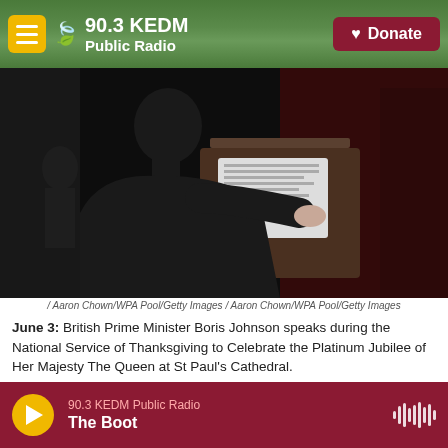90.3 KEDM Public Radio — Donate
[Figure (photo): Silhouette of British Prime Minister Boris Johnson speaking at a lectern/podium, seen from the side, with papers on the stand, in a dark formal setting]
/ Aaron Chown/WPA Pool/Getty Images / Aaron Chown/WPA Pool/Getty Images
June 3: British Prime Minister Boris Johnson speaks during the National Service of Thanksgiving to Celebrate the Platinum Jubilee of Her Majesty The Queen at St Paul's Cathedral.
[Figure (photo): Partial view of a second photograph at the bottom of the page, showing an ornate interior architectural setting]
90.3 KEDM Public Radio — The Boot